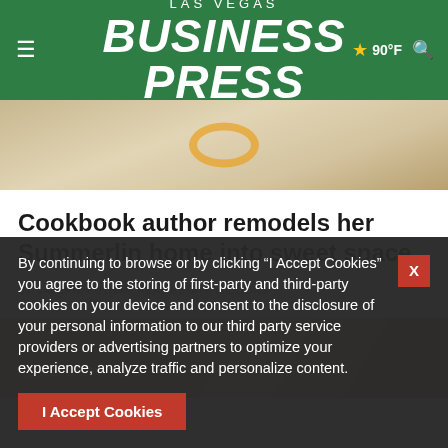LAS VEGAS BUSINESS PRESS — 90°F
[Figure (photo): Interior home photo showing a decorative rug with circular pattern on hardwood floor, with black furniture legs visible]
Cookbook author remodels her Summerlin home into sweet space
BY VALERIE PUTNAM REAL ESTATE MILLIONS
[Figure (photo): Warm orange-toned photo background for Real Estate section card]
REAL ESTATE »»
By continuing to browse or by clicking “I Accept Cookies” you agree to the storing of first-party and third-party cookies on your device and consent to the disclosure of your personal information to our third party service providers or advertising partners to optimize your experience, analyze traffic and personalize content.
I Accept Cookies